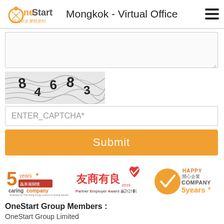OneStart 踏出壹步 夢想達到 | Mongkok - Virtual Office
[Figure (screenshot): Textarea input field for a form]
[Figure (other): CAPTCHA image showing digits 8 4 6 8 3 with distorted background lines]
ENTER_CAPTCHA*
Submit
[Figure (logo): Caring Company 5years+ logo]
[Figure (logo): Partner Employer Award 友商有良 logo]
[Figure (logo): Happy Company 5years+ logo]
OneStart Group Members :
OneStart Group Limited